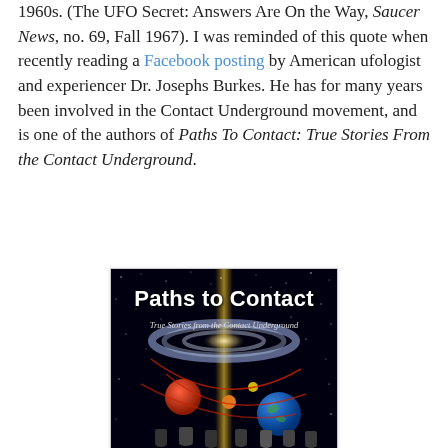1960s. (The UFO Secret: Answers Are On the Way, Saucer News, no. 69, Fall 1967). I was reminded of this quote when recently reading a Facebook posting by American ufologist and experiencer Dr. Josephs Burkes. He has for many years been involved in the Contact Underground movement, and is one of the authors of Paths To Contact: True Stories From the Contact Underground.
[Figure (photo): Book cover of 'Paths to Contact: True Stories from the Contact Underground' showing a dark space scene with a galaxy, planets, a golden beam of light, and silhouetted people at the bottom.]